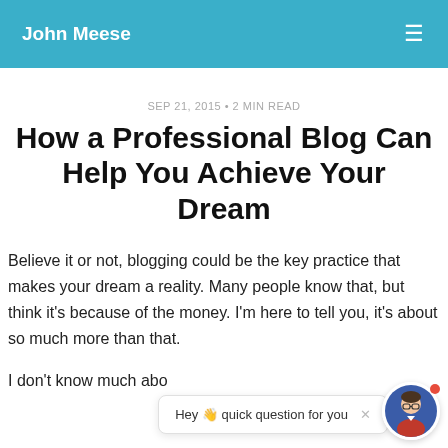John Meese
SEP 21, 2015 • 2 MIN READ
How a Professional Blog Can Help You Achieve Your Dream
Believe it or not, blogging could be the key practice that makes your dream a reality. Many people know that, but think it's because of the money. I'm here to tell you, it's about so much more than that.
I don't know much abo... th...